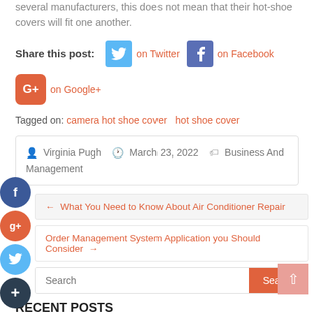several manufacturers, this does not mean that their hot-shoe covers will fit one another.
Share this post: on Twitter on Facebook on Google+
Tagged on: camera hot shoe cover   hot shoe cover
Virginia Pugh   March 23, 2022   Business And Management
← What You Need to Know About Air Conditioner Repair
Order Management System Application you Should Consider →
Search
RECENT POSTS